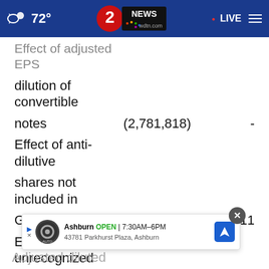72° | 2 NEWS wdtn.com | LIVE
Effect of adjusted EPS dilution of convertible notes	(2,781,818)	-
Effect of anti-dilutive shares not included in GAAP calculation	-	1,147,911
Effect of unrecognized share-based compensation on diluted shares outstanding		,087
Adjusted diluted
[Figure (screenshot): Advertisement overlay: Ashburn OPEN 7:30AM–6PM, 43781 Parkhurst Plaza, Ashburn with navigation icon and close button]